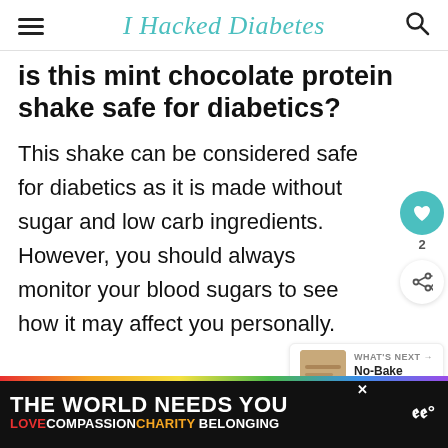I Hacked Diabetes
Is this mint chocolate protein shake safe for diabetics?
This shake can be considered safe for diabetics as it is made without sugar and low carb ingredients. However, you should always monitor your blood sugars to see how it may affect you personally.
[Figure (other): Social sidebar with heart button (count: 2) and share button]
[Figure (other): What's Next widget showing No-Bake Diabetic... article thumbnail]
[Figure (other): Advertisement banner: THE WORLD NEEDS YOU with rainbow colors, LOVE COMPASSION CHARITY BELONGING]